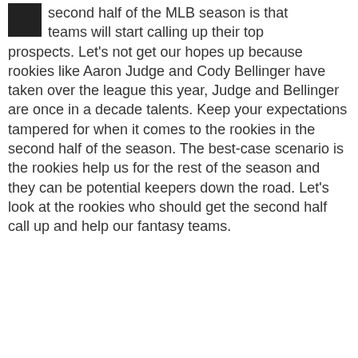[Figure (photo): Small dark square avatar/profile image in top left corner]
second half of the MLB season is that teams will start calling up their top prospects. Let's not get our hopes up because rookies like Aaron Judge and Cody Bellinger have taken over the league this year, Judge and Bellinger are once in a decade talents. Keep your expectations tampered for when it comes to the rookies in the second half of the season. The best-case scenario is the rookies help us for the rest of the season and they can be potential keepers down the road. Let's look at the rookies who should get the second half call up and help our fantasy teams.